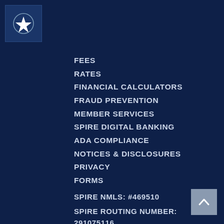[Figure (logo): Spire Credit Union logo — white shield/compass icon on dark navy background]
FEES
RATES
FINANCIAL CALCULATORS
FRAUD PREVENTION
MEMBER SERVICES
SPIRE DIGITAL BANKING
ADA COMPLIANCE
NOTICES & DISCLOSURES
PRIVACY
FORMS
SPIRE NMLS: #469510
SPIRE ROUTING NUMBER:
291075116